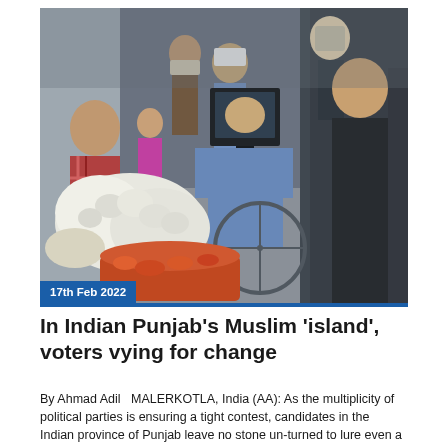[Figure (photo): Street scene in an alley with people gathered around a vegetable cart. A man in blue clothing holds a television set on a bicycle. Other people including children are visible in the background. Vegetables including cauliflower and carrots are visible in the foreground.]
17th Feb 2022
In Indian Punjab’s Muslim ‘island’, voters vying for change
By Ahmad Adil   MALERKOTLA, India (AA): As the multiplicity of political parties is ensuring a tight contest, candidates in the Indian province of Punjab leave no stone un-turned to lure even a minuscule Muslim population that accounts for less … Continued